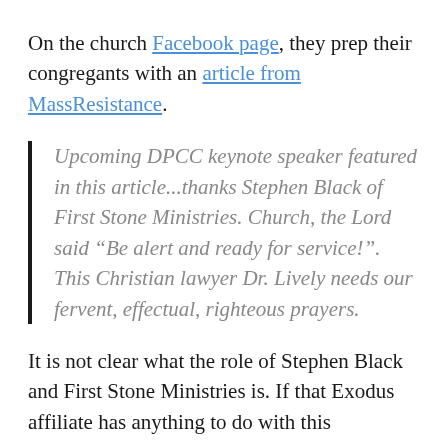On the church Facebook page, they prep their congregants with an article from MassResistance.
Upcoming DPCC keynote speaker featured in this article...thanks Stephen Black of First Stone Ministries. Church, the Lord said “Be alert and ready for service!”. This Christian lawyer Dr. Lively needs our fervent, effectual, righteous prayers.
It is not clear what the role of Stephen Black and First Stone Ministries is. If that Exodus affiliate has anything to do with this